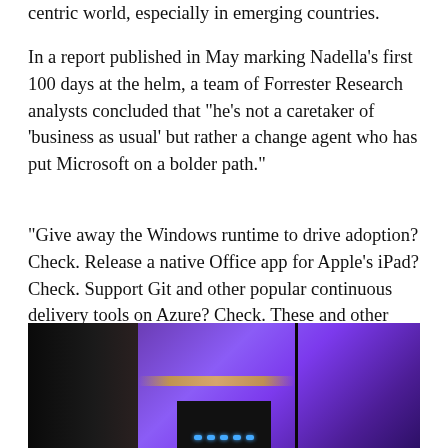centric world, especially in emerging countries.
In a report published in May marking Nadella’s first 100 days at the helm, a team of Forrester Research analysts concluded that “he’s not a caretaker of ‘business as usual’ but rather a change agent who has put Microsoft on a bolder path.”
“Give away the Windows runtime to drive adoption? Check. Release a native Office app for Apple’s iPad? Check. Support Git and other popular continuous delivery tools on Azure? Check. These and other Nadella actions ensure that Microsoft’s fortunes will improve,” they wrote.
[Figure (photo): Photo of what appears to be a Microsoft event or display setup with purple/blue lighting, dark architectural elements including vertical pillars, warm accent lighting strip, and a dark device or console in the foreground center with blue LED indicators.]